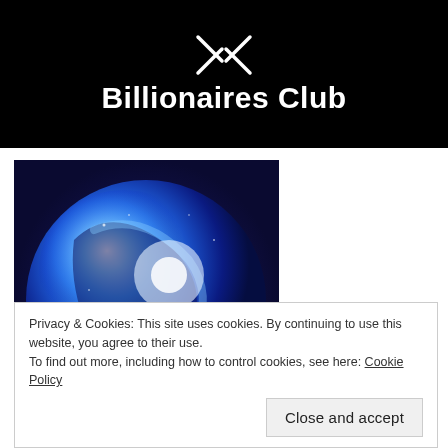[Figure (logo): XRP Billionaires Club header banner with XRP logo and bold white text on black background]
[Figure (photo): A glowing blue and red digital globe or sphere on a dark blue background, suggesting a cosmic or tech visual]
Privacy & Cookies: This site uses cookies. By continuing to use this website, you agree to their use.
To find out more, including how to control cookies, see here: Cookie Policy
Close and accept